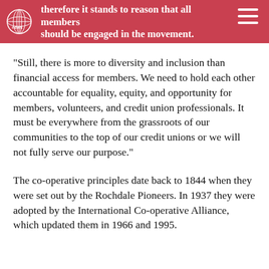therefore it stands to reason that all members should be engaged in the movement.
“Still, there is more to diversity and inclusion than financial access for members. We need to hold each other accountable for equality, equity, and opportunity for members, volunteers, and credit union professionals. It must be everywhere from the grassroots of our communities to the top of our credit unions or we will not fully serve our purpose.”
The co-operative principles date back to 1844 when they were set out by the Rochdale Pioneers. In 1937 they were adopted by the International Co-operative Alliance, which updated them in 1966 and 1995.